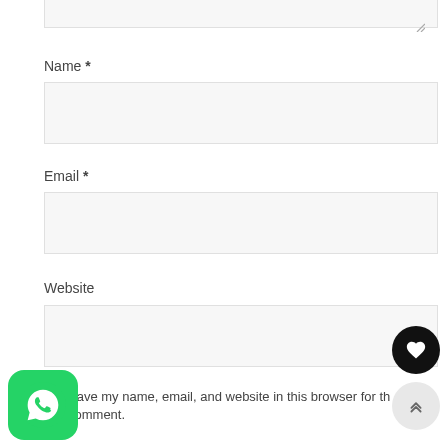[Figure (screenshot): Top of a textarea input with resize handle visible]
Name *
[Figure (screenshot): Name text input field (empty, light gray background)]
Email *
[Figure (screenshot): Email text input field (empty, light gray background)]
Website
[Figure (screenshot): Website text input field (empty, light gray background)]
Save my name, email, and website in this browser for th comment.
[Figure (other): Black circular heart/favorite button]
[Figure (other): Light gray circular scroll-to-top button with double chevron up]
[Figure (logo): WhatsApp green rounded square icon button]